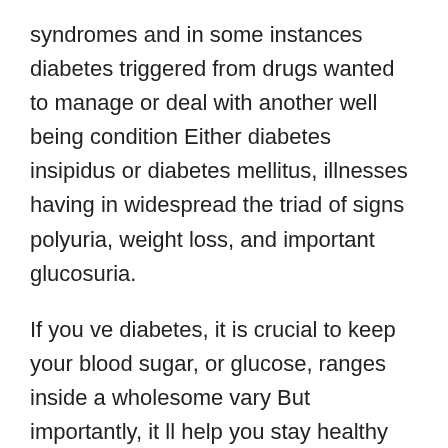syndromes and in some instances diabetes triggered from drugs wanted to manage or deal with another well being condition Either diabetes insipidus or diabetes mellitus, illnesses having in widespread the triad of signs polyuria, weight loss, and important glucosuria.
If you ve diabetes, it is crucial to keep your blood sugar, or glucose, ranges inside a wholesome vary But importantly, it ll help you stay healthy and stop severe diabetes What Is Normal Blood Sugar issues now and sooner or later Best Time To Check Blood Sugar In The Morning By problems, we imply severe issues in places like your toes and your eyes This occurs because too much sugar in the blood